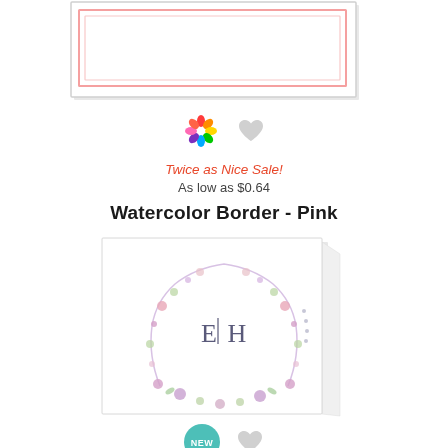[Figure (photo): Partially visible greeting card with pink double-line border on white background, cropped at top]
[Figure (illustration): Colorwheel icon (multicolor pinwheel) and gray heart icon side by side]
Twice as Nice Sale!
As low as $0.64
Watercolor Border - Pink
[Figure (photo): Folded greeting card showing monogram 'E | H' inside a watercolor wildflower wreath/horseshoe floral design]
[Figure (illustration): Teal NEW badge and gray heart icon at bottom]